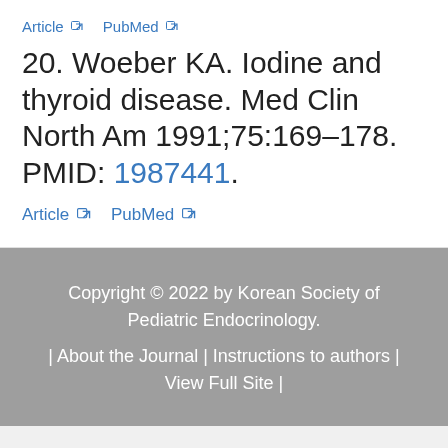Article  PubMed
20. Woeber KA. Iodine and thyroid disease. Med Clin North Am 1991;75:169–178. PMID: 1987441.
Article  PubMed
Copyright © 2022 by Korean Society of Pediatric Endocrinology.
| About the Journal | Instructions to authors | View Full Site |